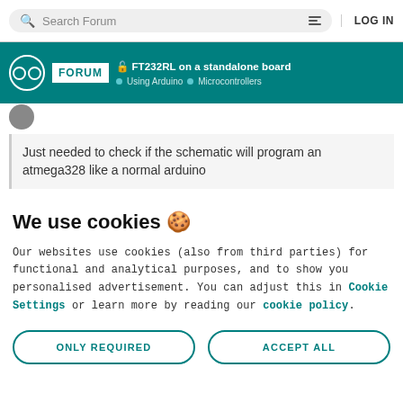Search Forum | LOG IN
FORUM | FT232RL on a standalone board | Using Arduino > Microcontrollers
Just needed to check if the schematic will program an atmega328 like a normal arduino
We use cookies 🍪
Our websites use cookies (also from third parties) for functional and analytical purposes, and to show you personalised advertisement. You can adjust this in Cookie Settings or learn more by reading our cookie policy.
ONLY REQUIRED
ACCEPT ALL